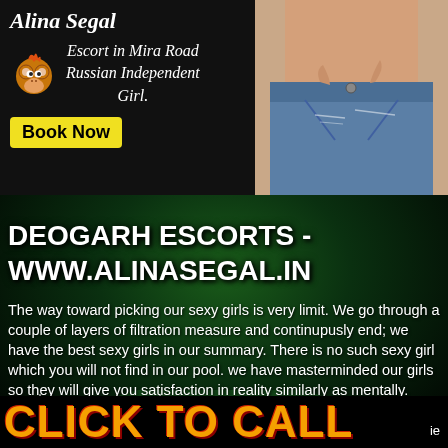Alina Segal
Escort in Mira Road Russian Independent Girl.
Book Now
[Figure (photo): Photo of a woman in denim shorts, cropped torso view]
[Figure (illustration): Starry dark green galaxy/night sky background]
DEOGARH ESCORTS - WWW.ALINASEGAL.IN
The way toward picking our sexy girls is very limit. We go through a couple of layers of filtration measure and continupusly end; we have the best sexy girls in our summary. There is no such sexy girl which you will not find in our pool. we have masterminded our girls so they will give you satisfaction in reality similarly as mentally.
CLICK TO CALL ie